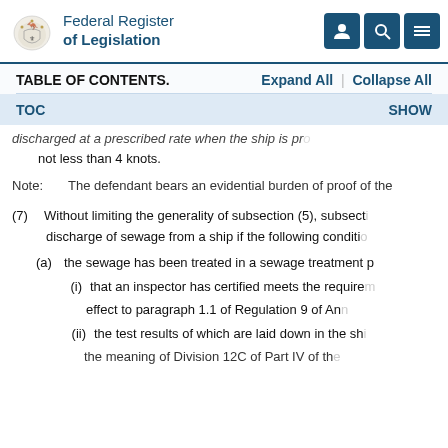Federal Register of Legislation
TABLE OF CONTENTS.   Expand All   |   Collapse All
TOC   SHOW
discharged at a prescribed rate when the ship is proceeding at a speed of not less than 4 knots.
Note: The defendant bears an evidential burden of proof of the
(7) Without limiting the generality of subsection (5), subsection (5) does not apply to the discharge of sewage from a ship if the following conditions are met:
(a) the sewage has been treated in a sewage treatment plant
(i) that an inspector has certified meets the requirements of, or to an effect to paragraph 1.1 of Regulation 9 of An
(ii) the test results of which are laid down in the sh
the meaning of Division 12C of Part IV of th